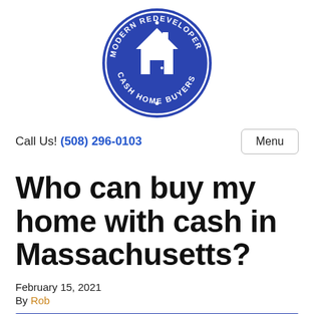[Figure (logo): Modern Redeveloper Cash Home Buyers circular logo in blue with white house icon]
Call Us! (508) 296-0103
Menu
Who can buy my home with cash in Massachusetts?
February 15, 2021
By Rob